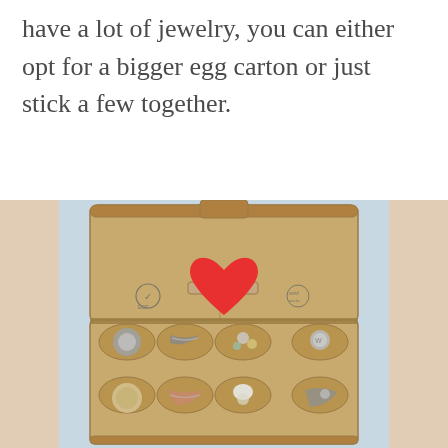have a lot of jewelry, you can either opt for a bigger egg carton or just stick a few together.
[Figure (photo): An open cardboard egg carton with a red heart sticker on the inside lid, and various pieces of jewelry (rings, chains, coins, beads) stored in the egg compartments at the bottom.]